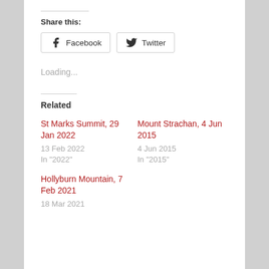Share this:
Facebook  Twitter
Loading...
Related
St Marks Summit, 29 Jan 2022
13 Feb 2022
In "2022"
Mount Strachan, 4 Jun 2015
4 Jun 2015
In "2015"
Hollyburn Mountain, 7 Feb 2021
18 Mar 2021